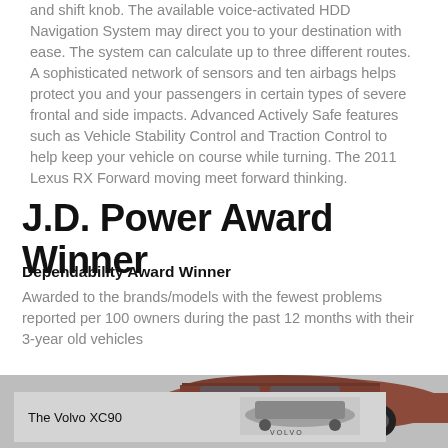and shift knob. The available voice-activated HDD Navigation System may direct you to your destination with ease. The system can calculate up to three different routes. A sophisticated network of sensors and ten airbags helps protect you and your passengers in certain types of severe frontal and side impacts. Advanced Actively Safe features such as Vehicle Stability Control and Traction Control to help keep your vehicle on course while turning. The 2011 Lexus RX Forward moving meet forward thinking.
J.D. Power Award Winner
Dependability Award Winner
Awarded to the brands/models with the fewest problems reported per 100 owners during the past 12 months with their 3-year old vehicles
[Figure (photo): Partial view of a red/brown SUV from the side/rear angle against a light background, with a Volvo XC90 advertisement banner overlaid at the bottom showing a silver Volvo XC90 SUV in a desert landscape]